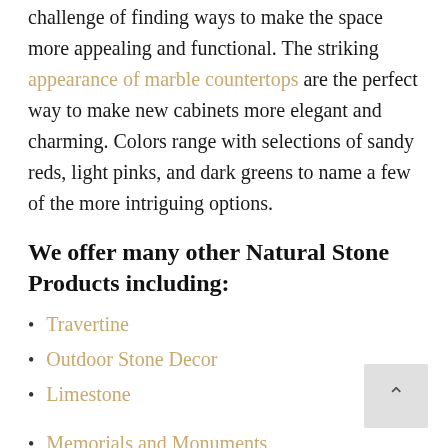challenge of finding ways to make the space more appealing and functional. The striking appearance of marble countertops are the perfect way to make new cabinets more elegant and charming. Colors range with selections of sandy reds, light pinks, and dark greens to name a few of the more intriguing options.
We offer many other Natural Stone Products including:
Travertine
Outdoor Stone Decor
Limestone
Memorials and Monuments